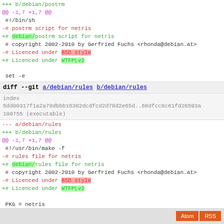+++ b/debian/postrm
@@ -1,7 +1,7 @@
 #!/bin/sh
 -# postrm script for netris
 +# debian/postrm script for netris
  # copyright 2002-2010 by Gerfried Fuchs <rhonda@debian.at>
 -# Licenced under BSD style
 +# Licenced under WTFPLv2
 
  set -e
diff --git a/debian/rules b/debian/rules
index 5dd00317f1a2a78dbbb16382dcdfcd2d78d2e65d..68dfcc8c61fd26593a
100755 (executable)
--- a/debian/rules
+++ b/debian/rules
@@ -1,7 +1,7 @@
 #!/usr/bin/make -f
 -# rules file for netris
 +# debian/rules file for netris
  # copyright 2002-2010 by Gerfried Fuchs <rhonda@debian.at>
 -# Licenced under BSD style
 +# Licenced under WTFPLv2
 
  PKG = netris
  TMP = $(CURDIR)/debian/$(PKG)
Atom  RSS